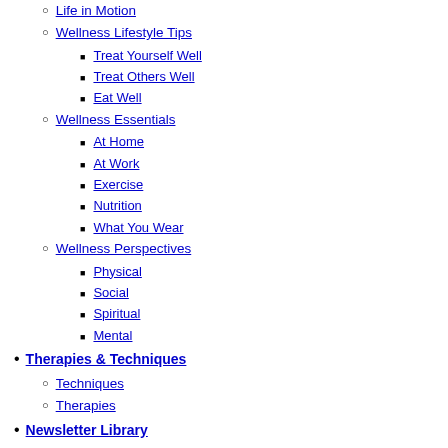Life in Motion
Wellness Lifestyle Tips
Treat Yourself Well
Treat Others Well
Eat Well
Wellness Essentials
At Home
At Work
Exercise
Nutrition
What You Wear
Wellness Perspectives
Physical
Social
Spiritual
Mental
Therapies & Techniques
Techniques
Therapies
Newsletter Library
Weight Loss
Staying Motivated
Staying Young
Life-Work Balance
Stress & Anxiety
Mind Body Connection